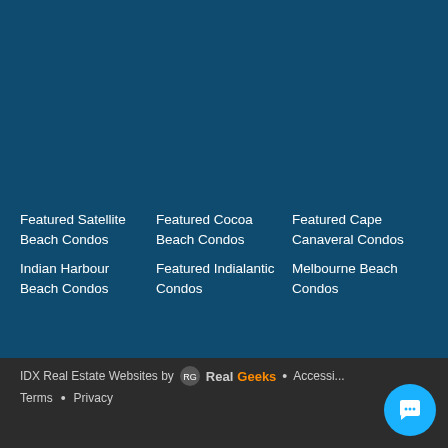Featured Satellite Beach Condos
Indian Harbour Beach Condos
Featured Cocoa Beach Condos
Featured Indialantic Condos
Featured Cape Canaveral Condos
Melbourne Beach Condos
IDX Real Estate Websites by RealGeeks • Accessibility • Terms • Privacy